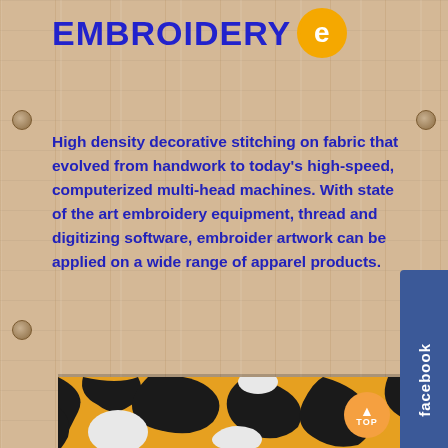EMBROIDERYe
High density decorative stitching on fabric that evolved from handwork to today's high-speed, computerized multi-head machines. With state of the art embroidery equipment, thread and digitizing software, embroider artwork can be applied on a wide range of apparel products.
[Figure (photo): Close-up photo of embroidered fabric showing bold black, golden yellow, and white camouflage-style pattern with thick raised stitching]
[Figure (logo): Facebook tab/button on right side of page with white text 'facebook' on dark blue background]